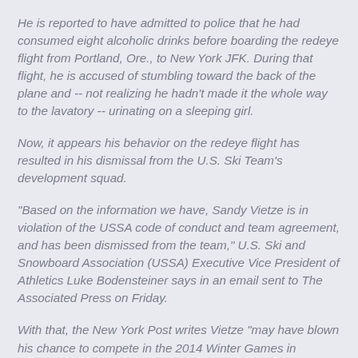He is reported to have admitted to police that he had consumed eight alcoholic drinks before boarding the redeye flight from Portland, Ore., to New York JFK. During that flight, he is accused of stumbling toward the back of the plane and -- not realizing he hadn't made it the whole way to the lavatory -- urinating on a sleeping girl.
Now, it appears his behavior on the redeye flight has resulted in his dismissal from the U.S. Ski Team's development squad.
"Based on the information we have, Sandy Vietze is in violation of the USSA code of conduct and team agreement, and has been dismissed from the team," U.S. Ski and Snowboard Association (USSA) Executive Vice President of Athletics Luke Bodensteiner says in an email sent to The Associated Press on Friday.
With that, the New York Post writes Vietze "may have blown his chance to compete in the 2014 Winter Games in Russia."